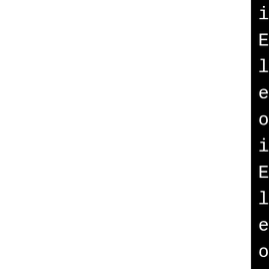i586-pld-linux-gcc -DLINUX -O2 -march=i586 -pthread -I./subversion -I/usr/include -I/usr/include/apr -I/usr/include/apr-util -o subversion/svn/status.o i586-pld-linux-gcc -DLINUX -O2 -march=i586 -pthread -I./subversion -I/usr/include -I/usr/include/apr -I/usr/include/apr-util -o subversion/svn/switch-cmd.o i586-pld-linux-gcc -DLINUX -O2 -march=i586 -pthread -I./subversion -I/usr/include -I/usr/include/apr -I/usr/include/apr-util -o subversion/svn/tree-conflicts.o i586-pld-linux-gcc -DLINUX -O2 -march=i586 -pthread -I./subversion -I/usr/include -I/usr/include/apr -I/usr/include/apr-util -o subversion/svn/unlock-cmd.o i586-pld-linux-gcc -DLINUX -O2 -march=i586 -pthread -I./subversion -I/usr/include -I/usr/include/apr -I/us